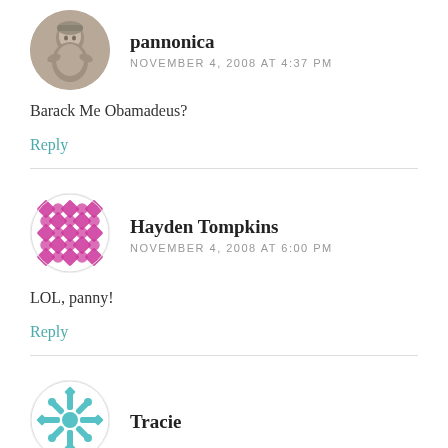[Figure (photo): Circular avatar photo of user pannonica, showing a stone or sculpted figure]
pannonica
NOVEMBER 4, 2008 AT 4:37 PM
Barack Me Obamadeus?
Reply
[Figure (illustration): Circular avatar with magenta/pink geometric diamond and dot pattern for user Hayden Tompkins]
Hayden Tompkins
NOVEMBER 4, 2008 AT 6:00 PM
LOL, panny!
Reply
[Figure (illustration): Circular avatar with teal/cyan geometric snowflake pattern for user Tracie]
Tracie